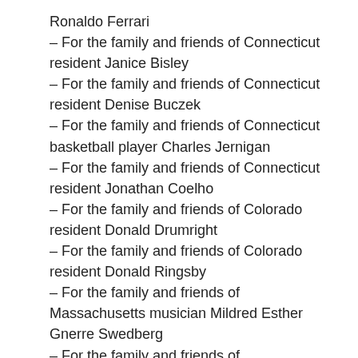Ronaldo Ferrari
– For the family and friends of Connecticut resident Janice Bisley
– For the family and friends of Connecticut resident Denise Buczek
– For the family and friends of Connecticut basketball player Charles Jernigan
– For the family and friends of Connecticut resident Jonathan Coelho
– For the family and friends of Colorado resident Donald Drumright
– For the family and friends of Colorado resident Donald Ringsby
– For the family and friends of Massachusetts musician Mildred Esther Gnerre Swedberg
– For the family and friends of Massachusetts police detective John D. Songy